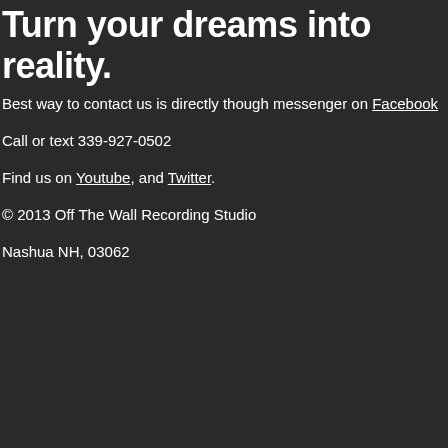Turn your dreams into reality.
Best way to contact us is directly though messenger on Facebook
Call or text 339-927-0502
Find us on Youtube, and Twitter.
© 2013 Off The Wall Recording Studio
Nashua NH, 03062